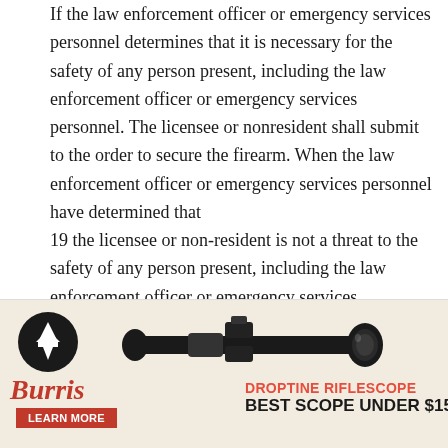If the law enforcement officer or emergency services personnel determines that it is necessary for the safety of any person present, including the law enforcement officer or emergency services personnel. The licensee or nonresident shall submit to the order to secure the firearm. When the law enforcement officer or emergency services personnel have determined that
19 the licensee or non-resident is not a threat to the safety of any person present, including the law enforcement officer or emergency services personnel, and if the licensee or non-resident is physically and mentally capable of possessing fficer or all return the lent before e and
[Figure (advertisement): Burris Droptine Riflescope advertisement with logo, rifle scope image, and tagline 'BEST SCOPE UNDER $150']